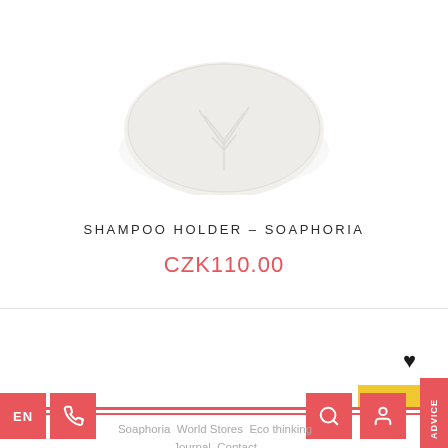[Figure (photo): White ceramic oval soap/shampoo holder dish with embossed tree design, photographed on white background]
SHAMPOO HOLDER – SOAPHORIA
CZK110.00
Soaphoria World Stores Eco thinking Journal Contact